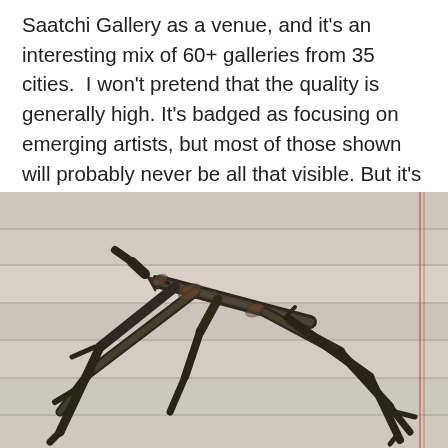Saatchi Gallery as a venue, and it's an interesting mix of 60+ galleries from 35 cities. I won't pretend that the quality is generally high. It's badged as focusing on emerging artists, but most of those shown will probably never be all that visible. But it's not a write-off. Here are half a dozen booths to look out for if you're there.
[Figure (photo): A sculptural artwork resembling a stick insect or abstract figure made from dark metal or cast branches/twigs, arranged on a light wood-grain surface with subtle red stripe lines.]